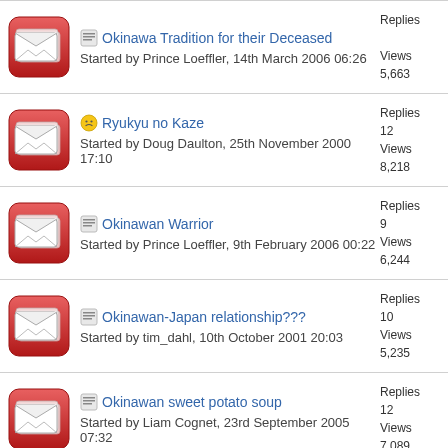Okinawa Tradition for their Deceased
Started by Prince Loeffler, 14th March 2006 06:26
Replies: [truncated]
Views: 5,663
Ryukyu no Kaze
Started by Doug Daulton, 25th November 2000 17:10
Replies: 12
Views: 8,218
Okinawan Warrior
Started by Prince Loeffler, 9th February 2006 00:22
Replies: 9
Views: 6,244
Okinawan-Japan relationship???
Started by tim_dahl, 10th October 2001 20:03
Replies: 10
Views: 5,235
Okinawan sweet potato soup
Started by Liam Cognet, 23rd September 2005 07:32
Replies: 12
Views: 7,089
BOOK: The Okinawa Program
Started by Doug Daulton, 31st August 2001 03:02
Replies: [truncated]
Views: [truncated]